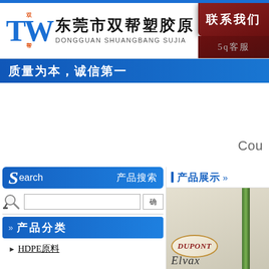[Figure (screenshot): Website header for Dongguan Shuangbang Sujiao plastic materials company. Logo with TW letters in blue and Chinese characters. Contact button in dark red on right.]
质量为本，诚信第一
Cou
Search 产品搜索
>> 产品分类
HDPE原料
产品展示 >>